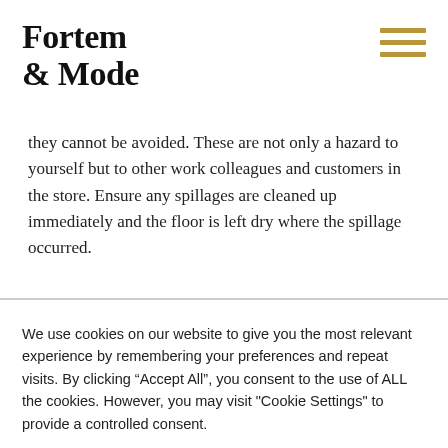Fortem & Mode
they cannot be avoided. These are not only a hazard to yourself but to other work colleagues and customers in the store. Ensure any spillages are cleaned up immediately and the floor is left dry where the spillage occurred.
We use cookies on our website to give you the most relevant experience by remembering your preferences and repeat visits. By clicking “Accept All”, you consent to the use of ALL the cookies. However, you may visit "Cookie Settings" to provide a controlled consent.